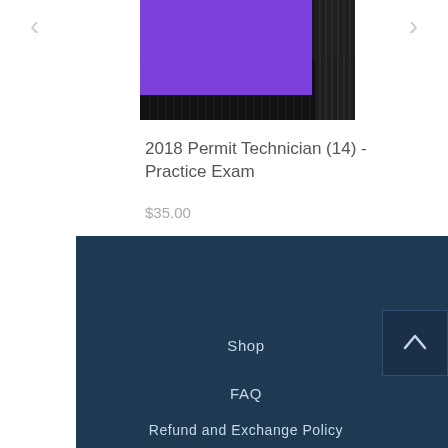[Figure (photo): Product thumbnail image showing a purple/violet rectangle overlaid on a dark architectural background with vertical lines]
2018 Permit Technician (14) - Practice Exam
$35.00
Shop
FAQ
Refund and Exchange Policy